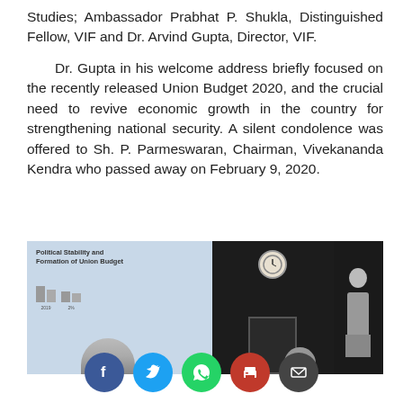Studies; Ambassador Prabhat P. Shukla, Distinguished Fellow, VIF and Dr. Arvind Gupta, Director, VIF.

Dr. Gupta in his welcome address briefly focused on the recently released Union Budget 2020, and the crucial need to revive economic growth in the country for strengthening national security. A silent condolence was offered to Sh. P. Parmeswaran, Chairman, Vivekananda Kendra who passed away on February 9, 2020.
[Figure (photo): A conference room photo showing a presentation slide on the left with text 'Political Stability and Formation of Union Budget' and a bar chart, a dark paneled room with a clock on the wall in the center, and a framed portrait image on the right. Persons visible at the bottom of the frame.]